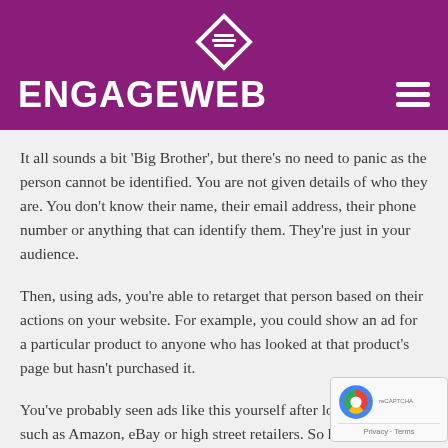ENGAGEWEB
It all sounds a bit ‘Big Brother’, but there’s no need to panic as the person cannot be identified. You are not given details of who they are. You don’t know their name, their email address, their phone number or anything that can identify them. They’re just in your audience.
Then, using ads, you’re able to retarget that person based on their actions on your website. For example, you could show an ad for a particular product to anyone who has looked at that product’s page but hasn’t purchased it.
You’ve probably seen ads like this yourself after looki... websites such as Amazon, eBay or high street retaile... how effective is this? Does it really work? Also, if som...